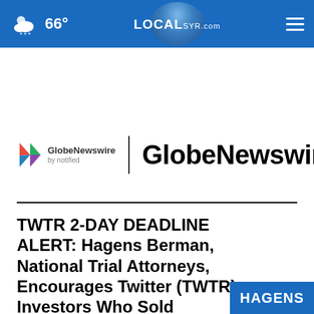66° LOCALsyr.com
[Figure (logo): GlobeNewswire by Notified logo with play-button arrow icon]
GlobeNewswire
TWTR 2-DAY DEADLINE ALERT: Hagens Berman, National Trial Attorneys, Encourages Twitter (TWTR) Investors Who Sold
[Figure (logo): Hagens Berman logo, partial view at bottom right, blue background]